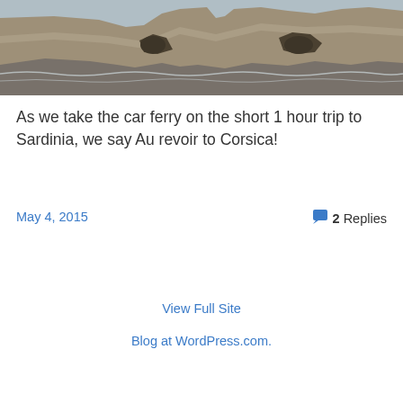[Figure (photo): Coastal limestone cliffs with sea in foreground, viewed from a ferry near Corsica/Sardinia]
As we take the car ferry on the short 1 hour trip to Sardinia, we say Au revoir to Corsica!
May 4, 2015
2 Replies
View Full Site
Blog at WordPress.com.